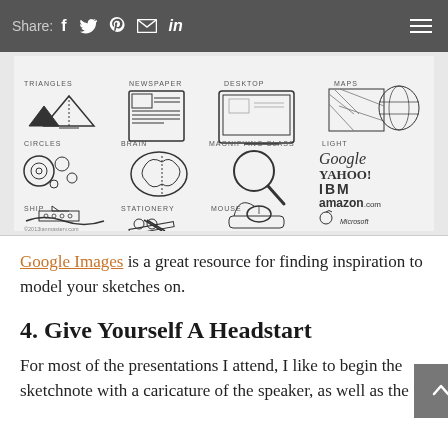Share: f  t  P  mail  in  ≡
[Figure (illustration): Sketchnote reference sheet showing hand-drawn icons for triangles, newspaper, desktop computer, maps, circles, brain, magnifying glass, logos (Google, Yahoo!, IBM, amazon.com, Apple, Microsoft), ship, stationery, mouse. Watermark: ©2013ianmastery.com]
Google Images is a great resource for finding inspiration to model your sketches on.
4. Give Yourself A Headstart
For most of the presentations I attend, I like to begin the sketchnote with a caricature of the speaker, as well as the